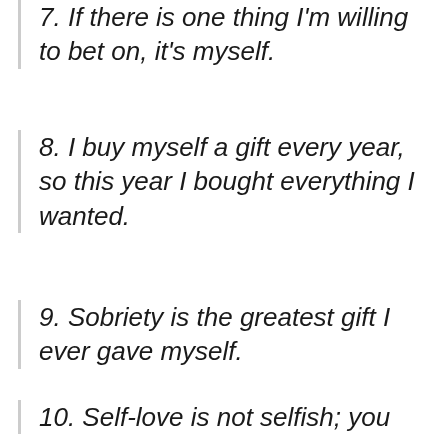7. If there is one thing I'm willing to bet on, it's myself.
8. I buy myself a gift every year, so this year I bought everything I wanted.
9. Sobriety is the greatest gift I ever gave myself.
10. Self-love is not selfish; you